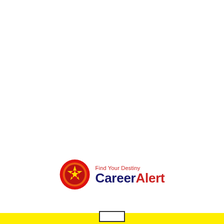[Figure (logo): CareerAlert logo with red circular icon containing a gold star emblem, tagline 'Find Your Destiny' in red, and 'CareerAlert' text with 'Career' in dark navy and 'Alert' in red]